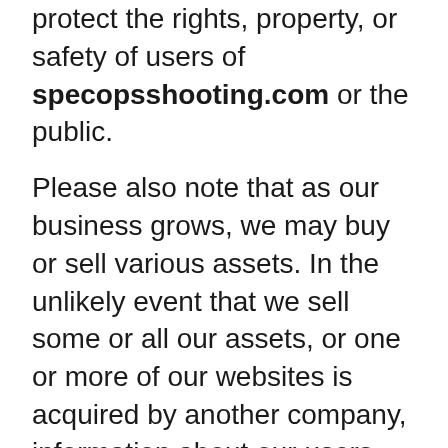protect the rights, property, or safety of users of specopsshooting.com or the public.
Please also note that as our business grows, we may buy or sell various assets. In the unlikely event that we sell some or all our assets, or one or more of our websites is acquired by another company, information about our users may be among the transferred assets.
Google Analytics
We also use Google Analytics Advertiser Features to optimize our business.